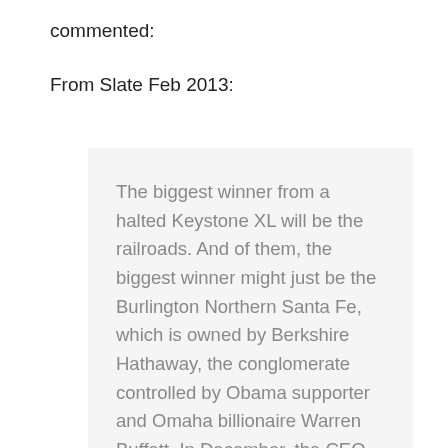commented:
From Slate Feb 2013:
The biggest winner from a halted Keystone XL will be the railroads. And of them, the biggest winner might just be the Burlington Northern Santa Fe, which is owned by Berkshire Hathaway, the conglomerate controlled by Obama supporter and Omaha billionaire Warren Buffett. In December, the CEO of BNSF, Matthew Rose, said that his